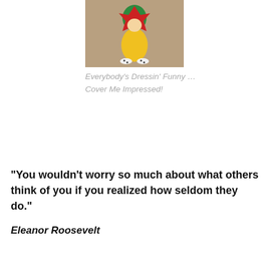[Figure (photo): A colorful clown figurine/toy wearing a yellow outfit with red and green accents, white shoes with black dots, photographed against a neutral background.]
Everybody's Dressin' Funny … Cover Me Impressed!
“You wouldn’t worry so much about what others think of you if you realized how seldom they do.”
Eleanor Roosevelt